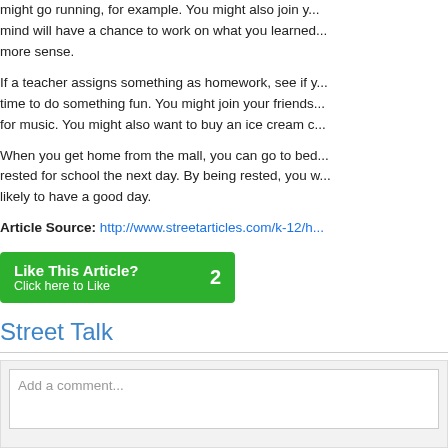might go running, for example. You might also join y... mind will have a chance to work on what you learned... more sense.
If a teacher assigns something as homework, see if y... time to do something fun. You might join your friends... for music. You might also want to buy an ice cream c...
When you get home from the mall, you can go to bed... rested for school the next day. By being rested, you w... likely to have a good day.
Article Source: http://www.streetarticles.com/k-12/h...
[Figure (other): Green 'Like This Article?' button with count of 2 and 'Click here to Like' subtext]
Street Talk
Add a comment...